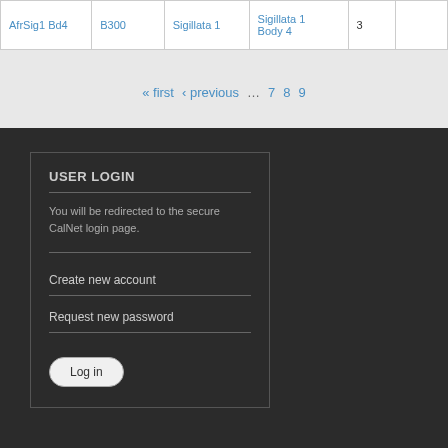|  | B300 | Sigillata 1 | Sigillata 1 Body 4 | 3 |  |
| --- | --- | --- | --- | --- | --- |
| AfrSig1 Bd4 | B300 | Sigillata 1 | Sigillata 1 Body 4 | 3 |  |
« first ‹ previous … 7 8 9
USER LOGIN
You will be redirected to the secure CalNet login page.
Create new account
Request new password
Log in